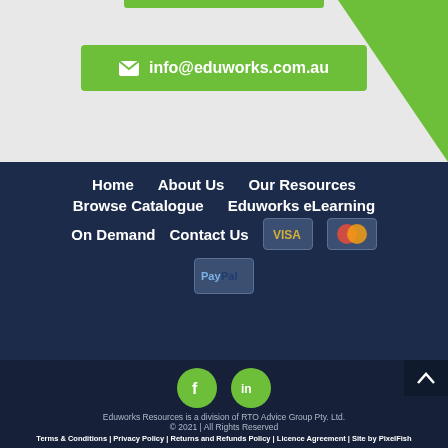info@eduworks.com.au
Home
About Us
Our Resources
Browse Catalogue
Eduworks eLearning
On Demand
Contact Us
[Figure (logo): VISA payment logo badge]
[Figure (logo): Mastercard payment logo badge]
[Figure (logo): PayPal payment logo badge]
[Figure (logo): Facebook social media icon - green circle with f]
[Figure (logo): LinkedIn social media icon - green circle with in]
Eduworks Resources is a division of RTO Advice Group Pty. Ltd.
© 2021 | All Rights Reserved
Terms & Conditions | Privacy Policy | Returns and Refunds Policy | Licence Agreement | Site by PixelFish